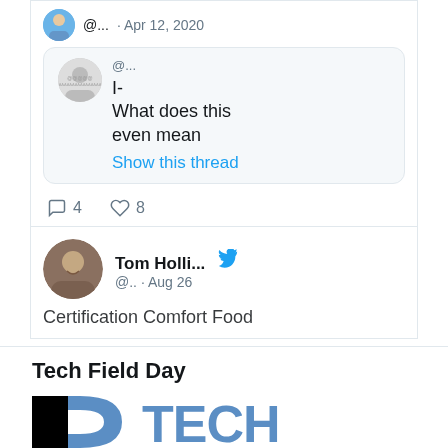[Figure (screenshot): Twitter/social media embed showing a quoted tweet from Apr 12, 2020 reading 'I- What does this even mean' with 'Show this thread' link, and reaction counts: 4 comments, 8 likes]
[Figure (screenshot): Twitter post by Tom Holli... (@...) dated Aug 26 with partial text 'Certification Comfort Food' visible]
Tech Field Day
[Figure (logo): Tech Field Day logo showing black and blue geometric shape on left and 'TECH' text in large blue letters on right]